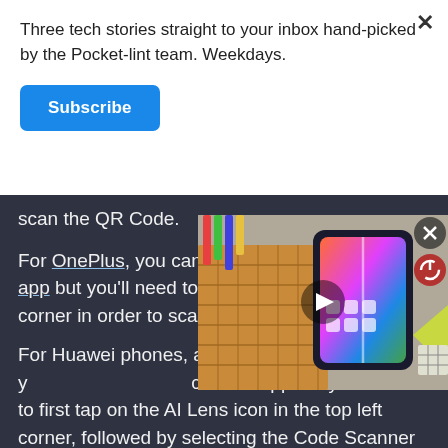Three tech stories straight to your inbox hand-picked by the Pocket-lint team. Weekdays.
Subscribe
scan the QR Code.
For OnePlus, you can use the native camera app but you'll need to tap on the corner in order to scan the QR Code.
[Figure (photo): Video thumbnail showing a foldable smartphone on a colorful background with a play button overlay, close button and power icon.]
For Huawei phones, again, you can use the camera app but you'll need to first tap on the AI Lens icon in the top left corner, followed by selecting the Code Scanner icon, after which you'll be able to scan the QR Code and access the information.